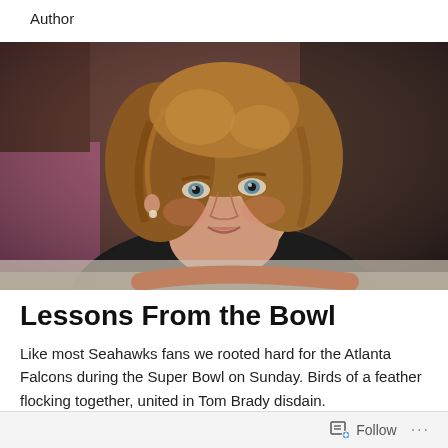Author
[Figure (photo): Portrait photograph of a woman with curly brown hair, blue eyes, wearing a black top, leaning forward with a slight smile, against a blurred background with pink and dark tones.]
Lessons From the Bowl
Like most Seahawks fans we rooted hard for the Atlanta Falcons during the Super Bowl on Sunday. Birds of a feather flocking together, united in Tom Brady disdain.